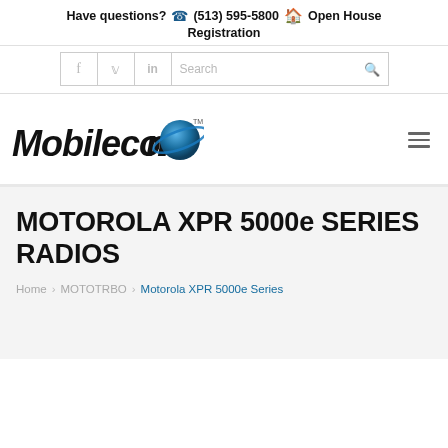Have questions? (513) 595-5800 Open House Registration
[Figure (screenshot): Social media icons (Facebook, Twitter, LinkedIn) and a search box with magnifying glass icon]
[Figure (logo): Mobilecomm logo with stylized italic text and a blue planet/globe graphic with ring, trademark symbol]
MOTOROLA XPR 5000e SERIES RADIOS
Home > MOTOTRBO > Motorola XPR 5000e Series